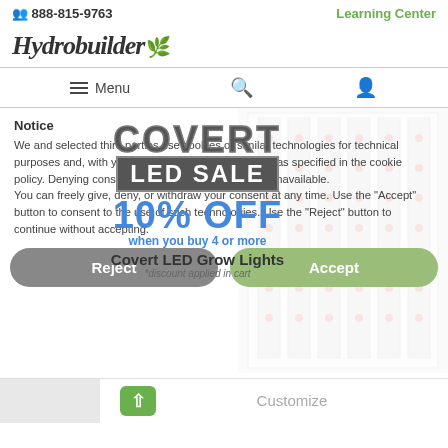👥 888-815-9763 | Learning Center
[Figure (logo): Hydrobuilder logo with stylized italic script text and green leaf icon]
Menu
[Figure (photo): Covert LED Grow Lights product image showing vertical LED panel array with red accent lights on white frame]
[Figure (infographic): Covert LED Sale promotional banner: COVERT in large bold letters, LED SALE on dark background, 10% OFF in blue, when you buy 4 or more Covert LED Grow Lights, *discount applied in cart]
Notice
We and selected third parties use cookies or similar technologies for technical purposes and, with your consent, for "measurement" as specified in the cookie policy. Denying consent may make related features unavailable.
You can freely give, deny, or withdraw your consent at any time. Use the "Accept" button to consent to the use of such technologies. Use the "Reject" button to continue without accepting.
Reject
Accept
Customize